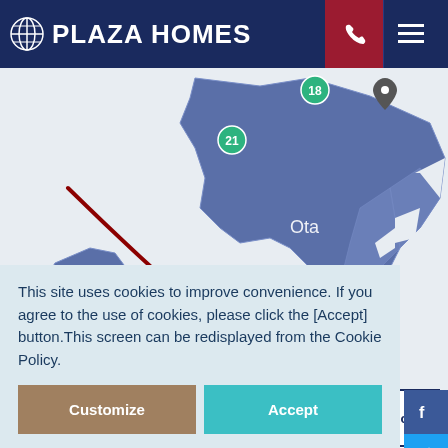PLAZA HOMES
[Figure (map): Interactive map showing Tokyo/Yokohama districts including Ota and Yokohama regions with numbered circle markers: 18, 21, 23. Blue shaded regional areas with white borders. Dark red diagonal line across the map.]
1 Hiroo
2 Azabujuban / Motoazabu
3 Roppongi
juku
This site uses cookies to improve convenience. If you agree to the use of cookies, please click the [Accept] button.This screen can be redisplayed from the Cookie Policy.
Customize
Accept